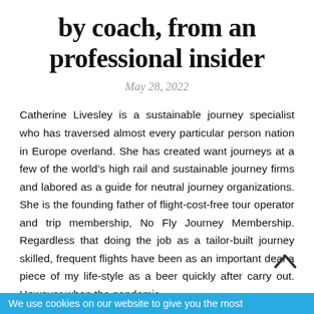by coach, from an professional insider
May 28, 2022
Catherine Livesley is a sustainable journey specialist who has traversed almost every particular person nation in Europe overland. She has created want journeys at a few of the world's high rail and sustainable journey firms and labored as a guide for neutral journey organizations. She is the founding father of flight-cost-free tour operator and trip membership, No Fly Journey Membership. Regardless that doing the job as a tailor-built journey skilled, frequent flights have been as an important deal a piece of my life-style as a beer quickly after carry out. However when the pandemic
We use cookies on our website to give you the most